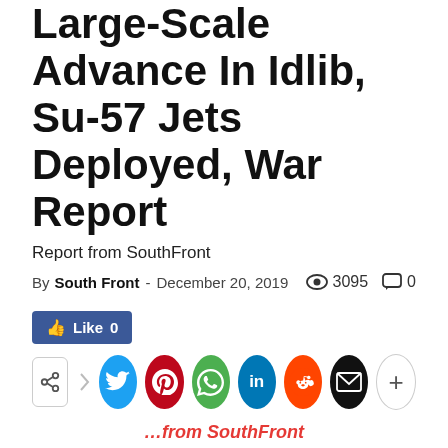Syrian Army Launched Large-Scale Advance In Idlib, Su-57 Jets Deployed, War Report
Report from SouthFront
By South Front - December 20, 2019   👁 3095   💬 0
[Figure (other): Like button (Facebook) showing Like 0]
[Figure (other): Social share row with Twitter, Pinterest, WhatsApp, LinkedIn, Reddit, Email, and More buttons]
…from SouthFront
Russia's Su-57 fifth-generation fighter jets have successfully passed the second stage of testing in Syria, the Chief of the General Staff of the Russian Armed Forces Valery Gerasimov revealed. During the second stage of testing in Syria, the Su-